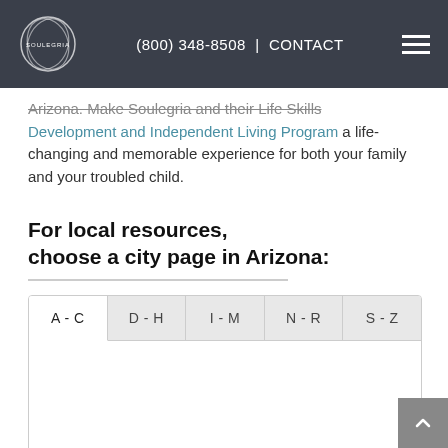SOULEGRIA | (800) 348-8508 | CONTACT
Arizona. Make Soulegria and their Life Skills Development and Independent Living Program a life-changing and memorable experience for both your family and your troubled child.
For local resources, choose a city page in Arizona:
| A - C | D - H | I - M | N - R | S - Z |
| --- | --- | --- | --- | --- |